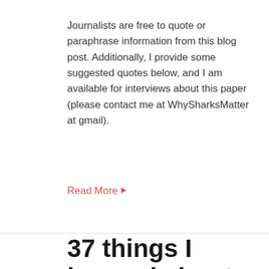Journalists are free to quote or paraphrase information from this blog post. Additionally, I provide some suggested quotes below, and I am available for interviews about this paper (please contact me at WhySharksMatter at gmail).
Read More ▶
37 things I learned about shark ecology